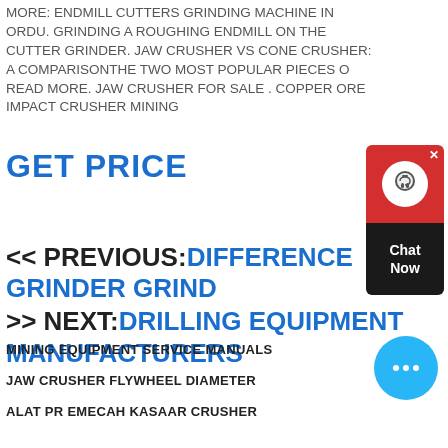MORE: ENDMILL CUTTERS GRINDING MACHINE IN ORDU. GRINDING A ROUGHING ENDMILL ON THE CUTTER GRINDER. JAW CRUSHER VS CONE CRUSHER: A COMPARISONTHE TWO MOST POPULAR PIECES O READ MORE. JAW CRUSHER FOR SALE . COPPER ORE IMPACT CRUSHER MINING
GET PRICE
[Figure (other): Chat widget with red top section showing headset icon and X close button, and black bottom section with Chat Now text]
<< PREVIOUS:DIFFERENCE GRINDER GRIND
>> NEXT:DRILLING EQUIPMENT MANUFACTURERS
MINING EQUIPMENT SERVICE MANUALS
JAW CRUSHER FLYWHEEL DIAMETER
ALAT PR EMECAH KASAAR CRUSHER
[Figure (other): Circular blue chat bubble button with ellipsis icon]